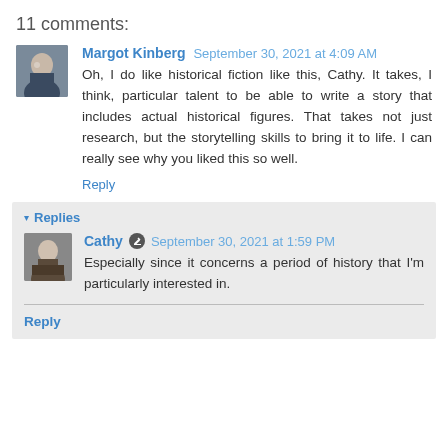11 comments:
Margot Kinberg  September 30, 2021 at 4:09 AM
Oh, I do like historical fiction like this, Cathy. It takes, I think, particular talent to be able to write a story that includes actual historical figures. That takes not just research, but the storytelling skills to bring it to life. I can really see why you liked this so well.
Reply
▾ Replies
Cathy  September 30, 2021 at 1:59 PM
Especially since it concerns a period of history that I'm particularly interested in.
Reply